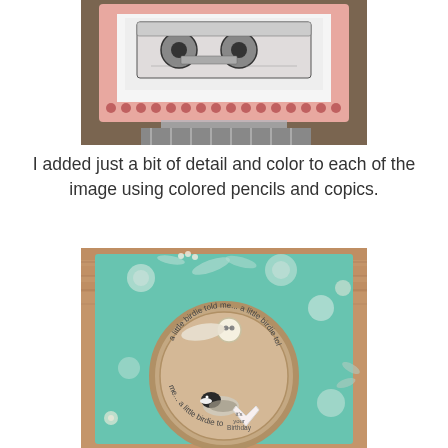[Figure (photo): A handmade card featuring a cassette tape stamp on white cardstock, mounted on pink scalloped-edge paper, displayed on a reflective surface.]
I added just a bit of detail and color to each of the image using colored pencils and copics.
[Figure (photo): A handmade birthday card with teal/mint floral patterned paper, featuring a circular embroidery-hoop style element with a chickadee bird and the text 'a little birdie told me...' and a heart with 'it's your Birthday'.]